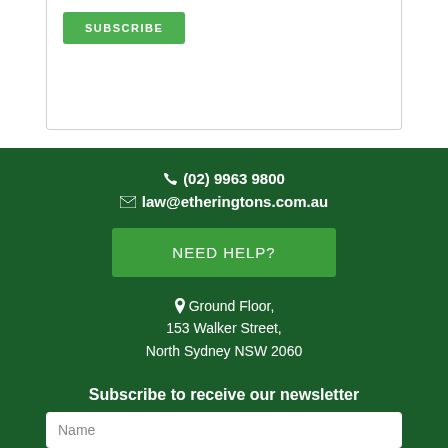SUBSCRIBE
(02) 9963 9800
law@etheringtons.com.au
NEED HELP?
Ground Floor, 153 Walker Street, North Sydney NSW 2060
Subscribe to receive our newsletter
Name